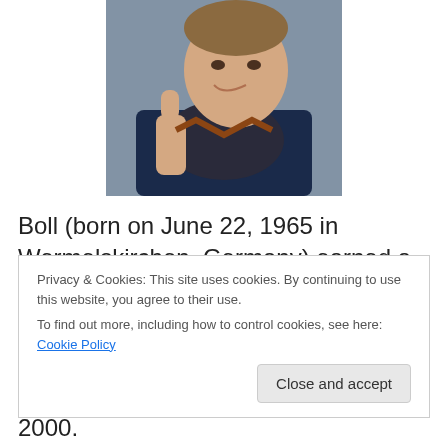[Figure (photo): A smiling man giving a thumbs up, wearing a dark sweater and blue jacket, photographed outdoors.]
Boll (born on June 22, 1965 in Wermelskirchen, Germany) earned a Master’s in Literature at The University of Cologne in 1995. Boll wrote, directed, and self-financed a
Privacy & Cookies: This site uses cookies. By continuing to use this website, you agree to their use.
To find out more, including how to control cookies, see here: Cookie Policy
English-speaking feature films in 2000.